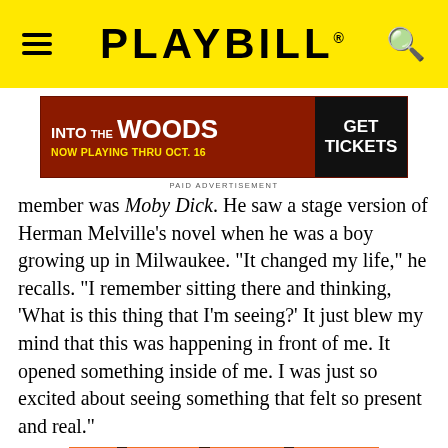PLAYBILL
[Figure (screenshot): Advertisement banner for 'Into the Woods' with red background, yellow text 'NOW PLAYING THRU OCT. 16' and dark button 'GET TICKETS']
PAID ADVERTISEMENT
member was Moby Dick. He saw a stage version of Herman Melville's novel when he was a boy growing up in Milwaukee. "It changed my life," he recalls. "I remember sitting there and thinking, 'What is this thing that I'm seeing?' It just blew my mind that this was happening in front of me. It opened something inside of me. I was just so excited about seeing something that felt so present and real."
[Figure (photo): Into the Woods theatrical poster showing stylized trees with orange/red background]